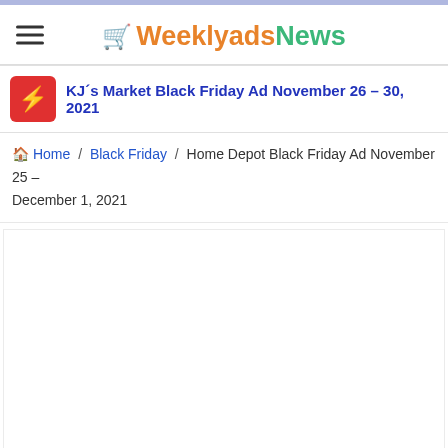WeeklyadsNews
KJ´s Market Black Friday Ad November 26 – 30, 2021
Home / Black Friday / Home Depot Black Friday Ad November 25 – December 1, 2021